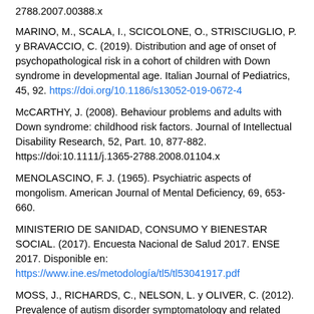2788.2007.00388.x
MARINO, M., SCALA, I., SCICOLONE, O., STRISCIUGLIO, P. y BRAVACCIO, C. (2019). Distribution and age of onset of psychopathological risk in a cohort of children with Down syndrome in developmental age. Italian Journal of Pediatrics, 45, 92. https://doi.org/10.1186/s13052-019-0672-4
McCARTHY, J. (2008). Behaviour problems and adults with Down syndrome: childhood risk factors. Journal of Intellectual Disability Research, 52, Part. 10, 877-882. https://doi:10.1111/j.1365-2788.2008.01104.x
MENOLASCINO, F. J. (1965). Psychiatric aspects of mongolism. American Journal of Mental Deficiency, 69, 653-660.
MINISTERIO DE SANIDAD, CONSUMO Y BIENESTAR SOCIAL. (2017). Encuesta Nacional de Salud 2017. ENSE 2017. Disponible en: https://www.ine.es/metodología/tl5/tl53041917.pdf
MOSS, J., RICHARDS, C., NELSON, L. y OLIVER, C. (2012). Prevalence of autism disorder symptomatology and related behavioural characteristics in individual with Down syndrome. Autism, 17(4), 390-404.